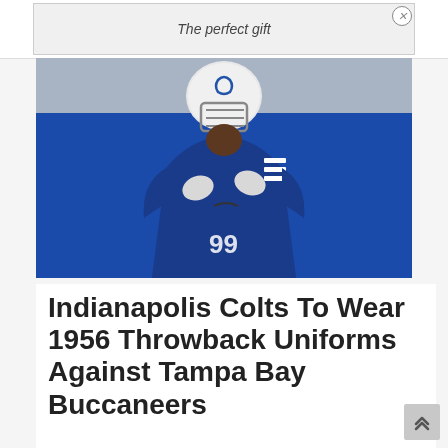[Figure (screenshot): Advertisement banner with text 'The perfect gift' and close button]
[Figure (photo): Indianapolis Colts football player wearing blue uniform and white helmet with number 99, posing against a blue background]
Indianapolis Colts To Wear 1956 Throwback Uniforms Against Tampa Bay Buccaneers